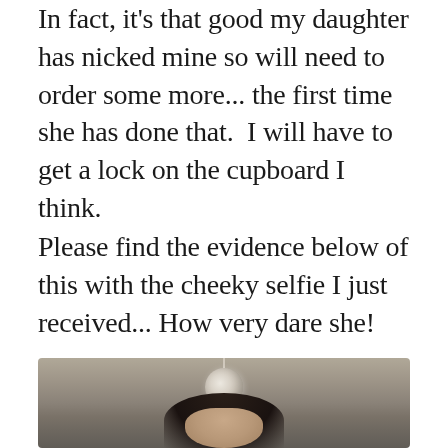In fact, it's that good my daughter has nicked mine so will need to order some more... the first time she has done that.  I will have to get a lock on the cupboard I think.
Please find the evidence below of this with the cheeky selfie I just received... How very dare she!
[Figure (photo): A selfie photo of a young woman with dark hair, taken indoors. A decorative spherical pendant light fixture is visible hanging from the ceiling above her.]